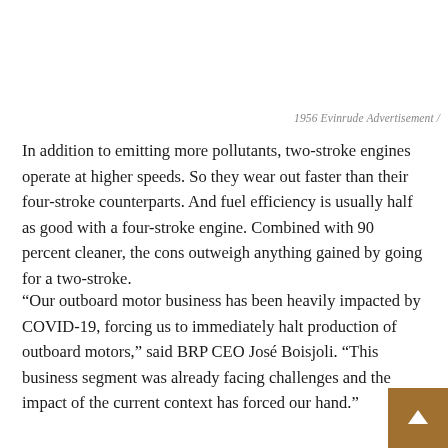1956 Evinrude Advertisement /
In addition to emitting more pollutants, two-stroke engines operate at higher speeds. So they wear out faster than their four-stroke counterparts. And fuel efficiency is usually half as good with a four-stroke engine. Combined with 90 percent cleaner, the cons outweigh anything gained by going for a two-stroke.
“Our outboard motor business has been heavily impacted by COVID-19, forcing us to immediately halt production of outboard motors,” said BRP CEO José Boisjoli. “This business segment was already facing challenges and the impact of the current context has forced our hand.”